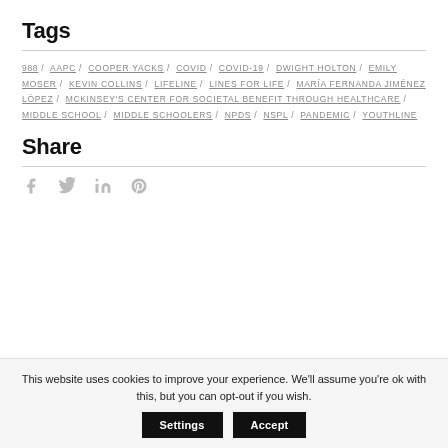Tags
988 / AAPC / COOPER YACKS / COVID / COVID-19 / DWIGHT HOLTON / EMILY MOSER / KEVIN COLLINS / LIFELINE / LINES FOR LIFE / MARÍA FERNANDA JIMÉNEZ LÓPEZ / MCKINSEY'S CENTER FOR SOCIETAL BENEFIT THROUGH HEALTHCARE / MIDDLE SCHOOL / MIDDLE SCHOOLERS / NPDS / NSPL / PANDEMIC / YOUTHLINE
Share
[Figure (infographic): Social media share icons: Facebook (f), Twitter (bird), LinkedIn (in), Pinterest (P)]
This website uses cookies to improve your experience. We'll assume you're ok with this, but you can opt-out if you wish.